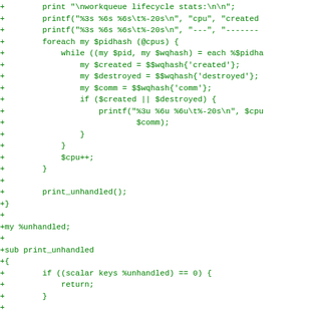Perl source code diff showing additions to workqueue lifecycle stats and print_unhandled subroutine